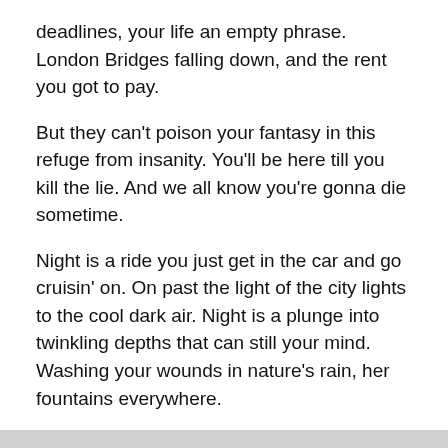deadlines, your life an empty phrase. London Bridges falling down, and the rent you got to pay.
But they can't poison your fantasy in this refuge from insanity. You'll be here till you kill the lie. And we all know you're gonna die sometime.
Night is a ride you just get in the car and go cruisin' on. On past the light of the city lights to the cool dark air. Night is a plunge into twinkling depths that can still your mind. Washing your wounds in nature's rain, her fountains everywhere.
And when the story is over you will sleep in fields of clover. But your dreams will keep the night-time sky. 'Cause we always knew you had to die sometime.